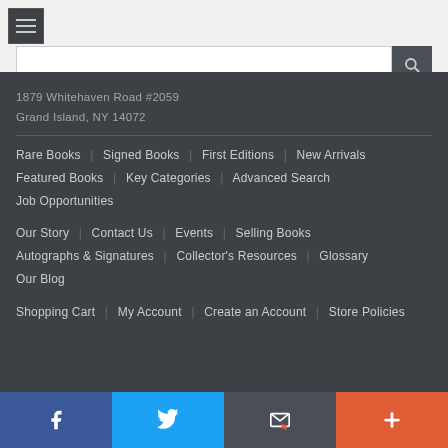1879 Whitehaven Road #2059
Grand Island, NY 14072
Rare Books | Signed Books | First Editions | New Arrivals | Featured Books | Key Categories | Advanced Search | Job Opportunities
Our Story | Contact Us | Events | Selling Books | Autographs & Signatures | Collector's Resources | Glossary | Our Blog
Shopping Cart | My Account | Create an Account | Store Policies
Facebook | Twitter | Email | Plus